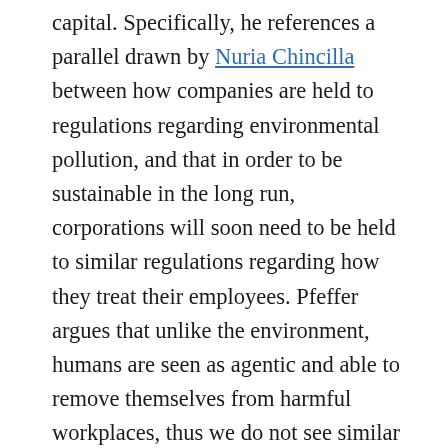capital. Specifically, he references a parallel drawn by Nuria Chincilla between how companies are held to regulations regarding environmental pollution, and that in order to be sustainable in the long run, corporations will soon need to be held to similar regulations regarding how they treat their employees. Pfeffer argues that unlike the environment, humans are seen as agentic and able to remove themselves from harmful workplaces, thus we do not see similar regulations regarding social pollution. However, Pfeffer makes the point that it is difficult to change jobs, and this taxing task can be even more daunting if one is already exhausted from work. Pfeffer projects that for things to change, there will be a large class-action lawsuit, similar to those filed against tobacco companies, regarding the negative effects of work environments on health and well-being. He also